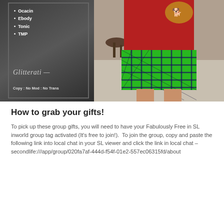[Figure (photo): A composite product/lifestyle image split into two halves. Left half: dark background with bullet list showing body types (Ocacin, Ebody, Tonic, TMP), a cursive 'Glitterati' brand signature, and 'Copy : No Mod : No Trans' text. Right half: avatar wearing a red sweater with graphic and a bright green plaid mini skirt.]
How to grab your gifts!
To pick up these group gifts, you will need to have your Fabulously Free in SL inworld group tag activated (It’s free to join!).  To join the group, copy and paste the following link into local chat in your SL viewer and click the link in local chat – secondlife:///app/group/020fa7af-444d-f54f-01e2-557ec06315fd/about